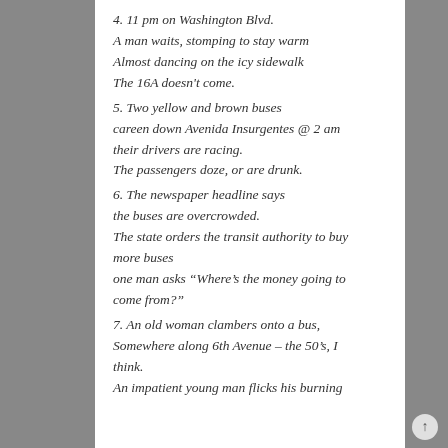4. 11 pm on Washington Blvd.
A man waits, stomping to stay warm
Almost dancing on the icy sidewalk
The 16A doesn't come.
5. Two yellow and brown buses
careen down Avenida Insurgentes @ 2 am
their drivers are racing.
The passengers doze, or are drunk.
6. The newspaper headline says
the buses are overcrowded.
The state orders the transit authority to buy more buses
one man asks “Where’s the money going to come from?”
7. An old woman clambers onto a bus,
Somewhere along 6th Avenue – the 50’s, I think.
An impatient young man flicks his burning